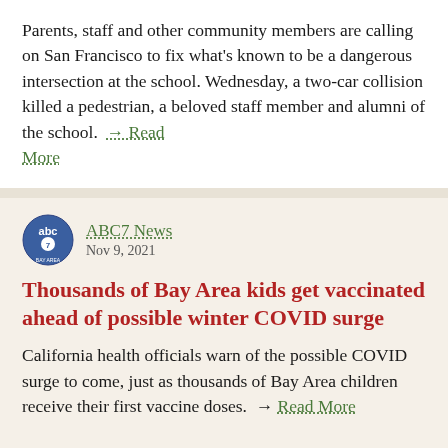Parents, staff and other community members are calling on San Francisco to fix what's known to be a dangerous intersection at the school. Wednesday, a two-car collision killed a pedestrian, a beloved staff member and alumni of the school. → Read More
ABC7 News
Nov 9, 2021
Thousands of Bay Area kids get vaccinated ahead of possible winter COVID surge
California health officials warn of the possible COVID surge to come, just as thousands of Bay Area children receive their first vaccine doses. → Read More